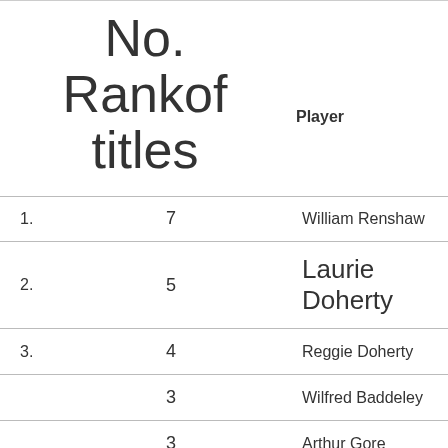| No. Rank of titles | Player |
| --- | --- |
| 1. | 7 | William Renshaw |
| 2. | 5 | Laurie Doherty |
| 3. | 4 | Reggie Doherty |
|  | 3 | Wilfred Baddeley |
|  | 3 | Arthur Gore |